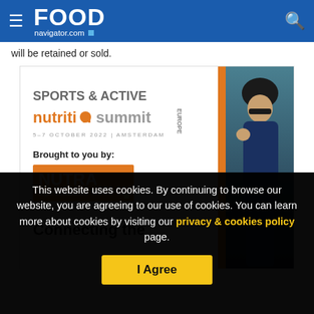FoodNavigator.com
will be retained or sold.
[Figure (infographic): Sports & Active Nutrition Summit Europe advertisement. 5-7 October 2022 | Amsterdam. Brought to you by NutraIngredients.com. Connecting the... Features a cyclist wearing a helmet and sunglasses on the right side with an orange vertical stripe.]
This website uses cookies. By continuing to browse our website, you are agreeing to our use of cookies. You can learn more about cookies by visiting our privacy & cookies policy page.
I Agree